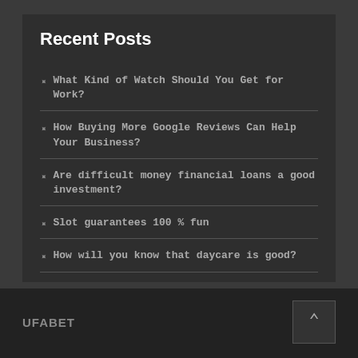Recent Posts
What Kind of Watch Should You Get for Work?
How Buying More Google Reviews Can Help Your Business?
Are difficult money financial loans a good investment?
Slot guarantees 100 % fun
How will you know that daycare is good?
UFABET